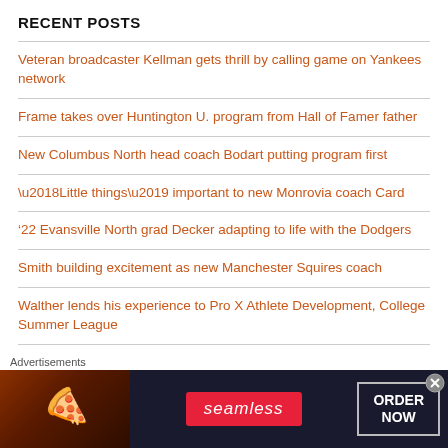RECENT POSTS
Veteran broadcaster Kellman gets thrill by calling game on Yankees network
Frame takes over Huntington U. program from Hall of Famer father
New Columbus North head coach Bodart putting program first
‘Little things’ important to new Monrovia coach Card
’22 Evansville North grad Decker adapting to life with the Dodgers
Smith building excitement as new Manchester Squires coach
Walther lends his experience to Pro X Athlete Development, College Summer League
Scott in second stint guiding Anderson Prep Academy Jets baseball
Advertisements
[Figure (other): Seamless food delivery advertisement banner with pizza image on left, Seamless brand logo in center on red background, and ORDER NOW button on right, on dark background]